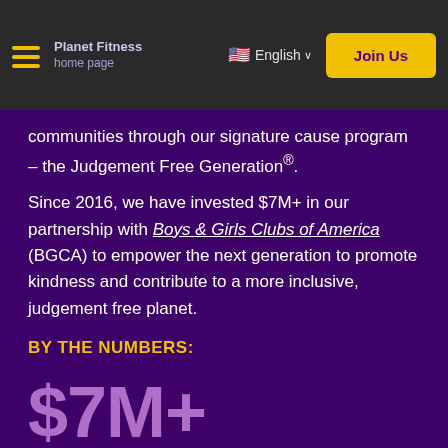Planet Fitness home page | English | Join Us
communities through our signature cause program – the Judgement Free Generation®.
Since 2016, we have invested $7M+ in our partnership with Boys & Girls Clubs of America (BGCA) to empower the next generation to promote kindness and contribute to a more inclusive, judgement free planet.
BY THE NUMBERS:
$7M+